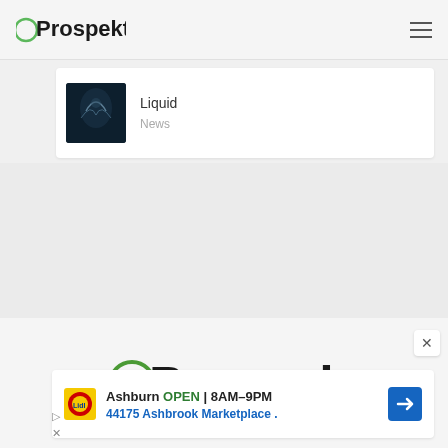Prospekt
[Figure (screenshot): Article card with dark thumbnail image and title 'Liquid' with category 'News']
Liquid
News
[Figure (logo): Prospekt logo - large centered version with green circle O and handwritten-style text]
[Figure (infographic): Lidl advertisement banner: Ashburn OPEN 8AM-9PM, 44175 Ashbrook Marketplace.]